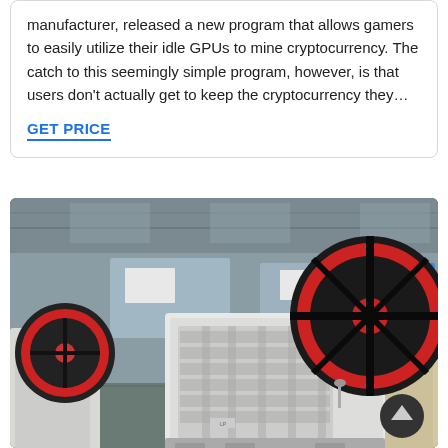manufacturer, released a new program that allows gamers to easily utilize their idle GPUs to mine cryptocurrency. The catch to this seemingly simple program, however, is that users don't actually get to keep the cryptocurrency they...
GET PRICE
[Figure (photo): Industrial jaw crushers in a large factory warehouse. Multiple large white and red heavy machinery units with prominent black and red flywheels are visible. Chinese signage visible on blue banners in the background.]